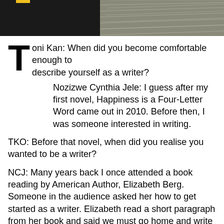[Figure (photo): Header image with dark background on the left and a textured/patterned surface on the right]
Toni Kan: When did you become comfortable enough to describe yourself as a writer?
Nozizwe Cynthia Jele: I guess after my first novel, Happiness is a Four-Letter Word came out in 2010. Before then, I was someone interested in writing.
TKO: Before that novel, when did you realise you wanted to be a writer?
NCJ: Many years back I once attended a book reading by American Author, Elizabeth Berg. Someone in the audience asked her how to get started as a writer. Elizabeth read a short paragraph from her book and said we must go home and write the next paragraph. I did exactly that and I haven't stopped. I don't remember what I wrote though 😊